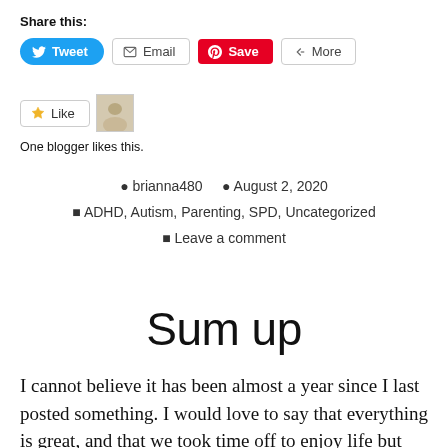Share this:
[Figure (screenshot): Social sharing buttons: Tweet (blue), Email (outlined), Save (red Pinterest), More (outlined)]
[Figure (screenshot): Like button with star icon and a blogger avatar thumbnail. Text: One blogger likes this.]
brianna480   August 2, 2020
ADHD, Autism, Parenting, SPD, Uncategorized
Leave a comment
Sum up
I cannot believe it has been almost a year since I last posted something. I would love to say that everything is great, and that we took time off to enjoy life but